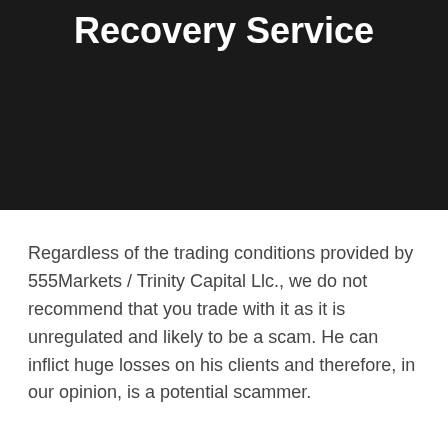How to Use a Bitcoin Recovery Service
Regardless of the trading conditions provided by 555Markets / Trinity Capital Llc., we do not recommend that you trade with it as it is unregulated and likely to be a scam. He can inflict huge losses on his clients and therefore, in our opinion, is a potential scammer.